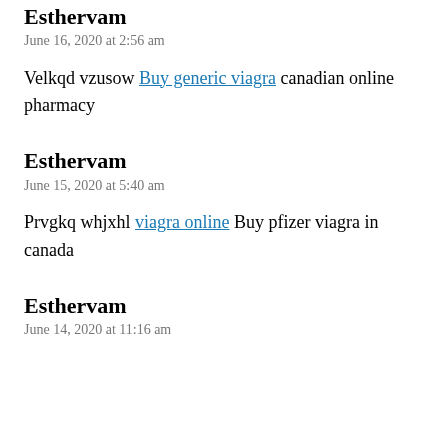Esthervam
June 16, 2020 at 2:56 am
Velkqd vzusow Buy generic viagra canadian online pharmacy
Esthervam
June 15, 2020 at 5:40 am
Prvgkq whjxhl viagra online Buy pfizer viagra in canada
Esthervam
June 14, 2020 at 11:16 am